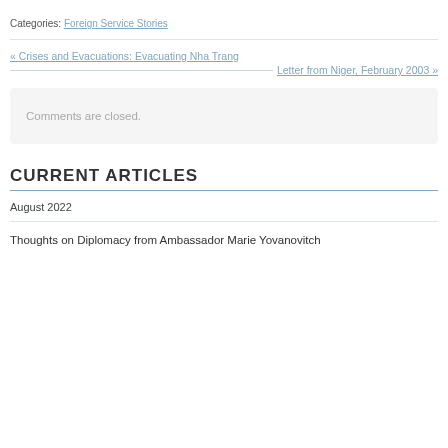Categories: Foreign Service Stories
« Crises and Evacuations: Evacuating Nha Trang
Letter from Niger, February 2003 »
Comments are closed.
CURRENT ARTICLES
August 2022
Thoughts on Diplomacy from Ambassador Marie Yovanovitch